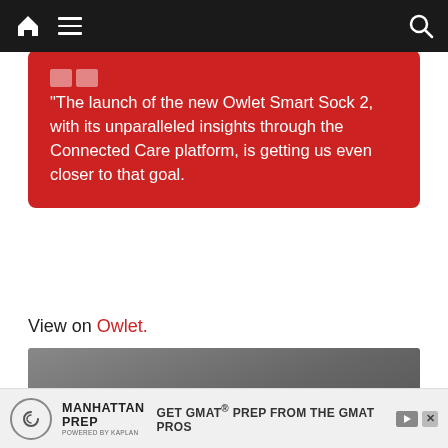Navigation bar with home, menu, and search icons
“The launch of the new Owlet Smart Sock 2, with its unparalleled insights through the Connected Care platform, is getting us even closer to that goal.
View on Owlet.
[Figure (other): Dark grey gradient video placeholder block]
[Figure (other): Manhattan Prep advertisement bar: GET GMAT® PREP FROM THE GMAT PROS]